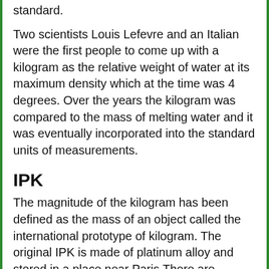standard.
Two scientists Louis Lefevre and an Italian were the first people to come up with a kilogram as the relative weight of water at its maximum density which at the time was 4 degrees. Over the years the kilogram was compared to the mass of melting water and it was eventually incorporated into the standard units of measurements.
IPK
The magnitude of the kilogram has been defined as the mass of an object called the international prototype of kilogram. The original IPK is made of platinum alloy and stored in a place near Paris.There are various sisters to the original prototype found in